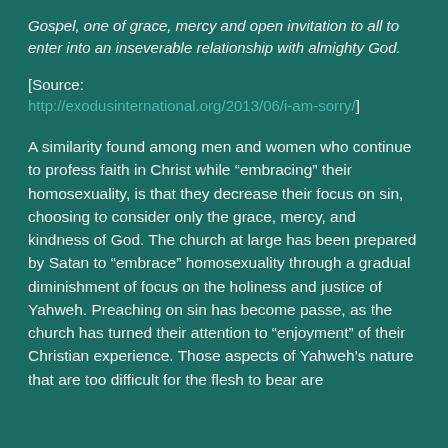Gospel, one of grace, mercy and open invitation to all to enter into an inseverable relationship with almighty God.
[Source: http://exodusinternational.org/2013/06/i-am-sorry/]
A similarity found among men and women who continue to profess faith in Christ while “embracing” their homosexuality, is that they decrease their focus on sin, choosing to consider only the grace, mercy, and kindness of God. The church at large has been prepared by Satan to “embrace” homosexuality through a gradual diminishment of focus on the holiness and justice of Yahweh. Preaching on sin has become passe, as the church has turned their attention to “enjoyment” of their Christian experience. Those aspects of Yahweh’s nature that are too difficult for the flesh to bear are